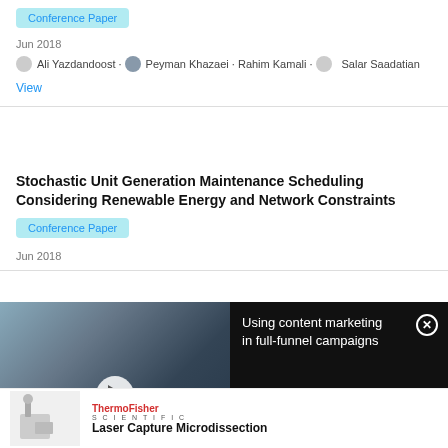Conference Paper
Jun 2018
Ali Yazdandoost · Peyman Khazaei · Rahim Kamali · Salar Saadatian
View
Stochastic Unit Generation Maintenance Scheduling Considering Renewable Energy and Network Constraints
Conference Paper
Jun 2018
[Figure (screenshot): Video advertisement overlay showing 'Using content marketing in full-funnel campaigns' with a play button over a video thumbnail of people working in an office]
[Figure (photo): Thermo Fisher Scientific advertisement showing a microscope instrument and text 'Laser Capture Microdissection']